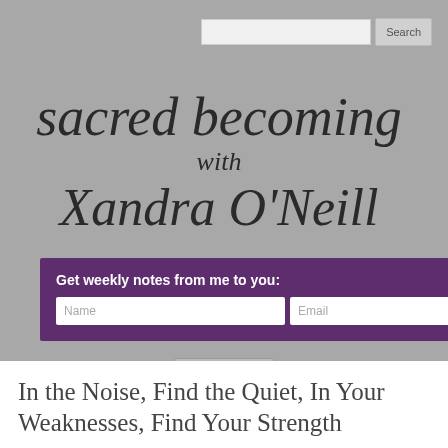[Figure (screenshot): Search bar with text input and Search button in top right area]
[Figure (logo): Sacred Becoming with Xandra O'Neill - handwritten calligraphy style logo]
[Figure (infographic): Purple email signup popup with Name and Email fields and Sign up! button, with X close button]
Menu
In the Noise, Find the Quiet, In Your Weaknesses, Find Your Strength